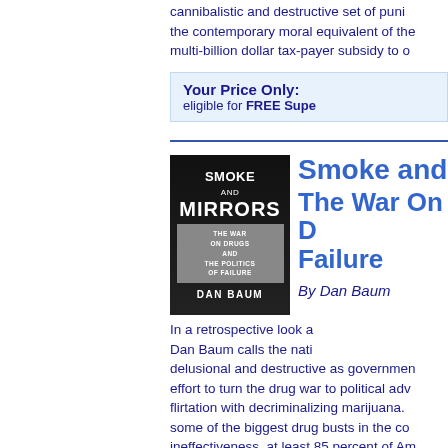cannibalistic and destructive set of punishments, the contemporary moral equivalent of the multi-billion dollar tax-payer subsidy to o
| Your Price Only: | eligible for FREE Supe |
[Figure (photo): Book cover of Smoke and Mirrors: The War On Drugs And The Politics Of Failure by Dan Baum]
Smoke and The War On D Failure
By Dan Baum
In a retrospective look a Dan Baum calls the nati delusional and destructive as governmen effort to turn the drug war to political adv flirtation with decriminalizing marijuana. some of the biggest drug busts in the co ineffectiveness, at least 85 percent of Am on the reasons for this issue and calls fo